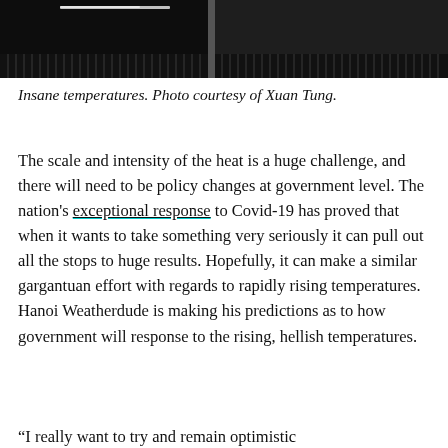[Figure (photo): A dark photograph showing heat haze or light streaks, appears to be an indoor or architectural scene with dramatic lighting. Dark tones dominate.]
Insane temperatures. Photo courtesy of Xuan Tung.
The scale and intensity of the heat is a huge challenge, and there will need to be policy changes at government level. The nation's exceptional response to Covid-19 has proved that when it wants to take something very seriously it can pull out all the stops to huge results. Hopefully, it can make a similar gargantuan effort with regards to rapidly rising temperatures. Hanoi Weatherdude is making his predictions as to how government will response to the rising, hellish temperatures.
“I really want to try and remain optimistic